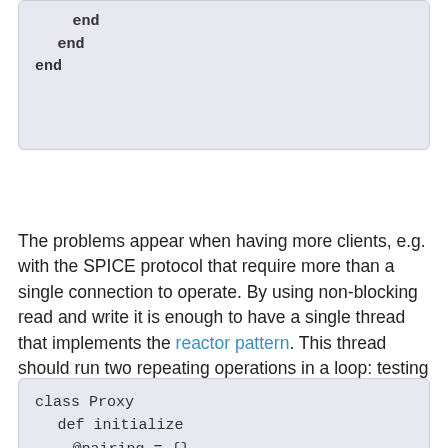end
    end
end
The problems appear when having more clients, e.g. with the SPICE protocol that require more than a single connection to operate. By using non-blocking read and write it is enough to have a single thread that implements the reactor pattern. This thread should run two repeating operations in a loop: testing the readiness of sockets and transmitting data between the ready ones in a non-blocking way:
class Proxy
  def initialize
    @pairing = {}